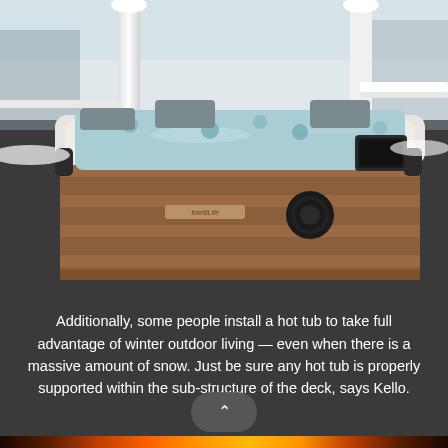[Figure (photo): A hot tub filled with water, installed on a snowy outdoor deck with white pillars and railings. The hot tub has a white rim and brown wood-panel sides with a speaker and logo visible. Heavy snow covers the surroundings.]
Additionally, some people install a hot tub to take full advantage of winter outdoor living — even when there is a massive amount of snow. Just be sure any hot tub is properly supported within the sub-structure of the deck, says Kello.